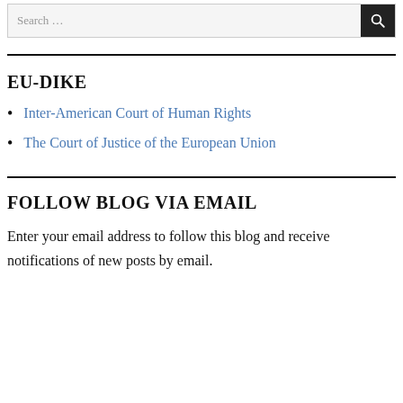Search …
EU-DIKE
Inter-American Court of Human Rights
The Court of Justice of the European Union
FOLLOW BLOG VIA EMAIL
Enter your email address to follow this blog and receive notifications of new posts by email.